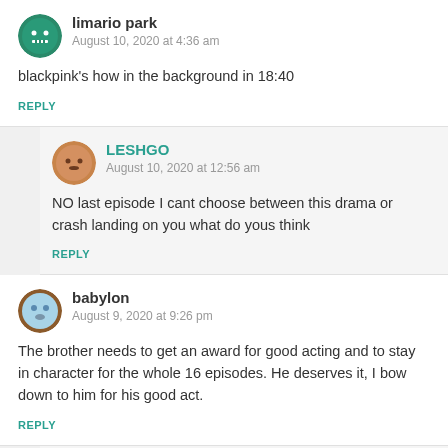limario park
August 10, 2020 at 4:36 am
blackpink's how in the background in 18:40
REPLY
LESHGO
August 10, 2020 at 12:56 am
NO last episode I cant choose between this drama or crash landing on you what do yous think
REPLY
babylon
August 9, 2020 at 9:26 pm
The brother needs to get an award for good acting and to stay in character for the whole 16 episodes. He deserves it, I bow down to him for his good act.
REPLY
Lise